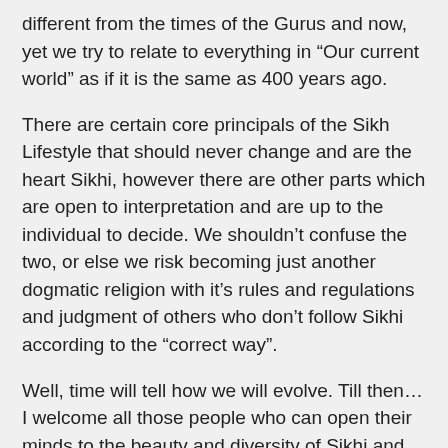different from the times of the Gurus and now, yet we try to relate to everything in “Our current world” as if it is the same as 400 years ago.
There are certain core principals of the Sikh Lifestyle that should never change and are the heart Sikhi, however there are other parts which are open to interpretation and are up to the individual to decide. We shouldn’t confuse the two, or else we risk becoming just another dogmatic religion with it’s rules and regulations and judgment of others who don’t follow Sikhi according to the “correct way”.
Well, time will tell how we will evolve. Till then…I welcome all those people who can open their minds to the beauty and diversity of Sikhi and not try to put it into some sort of “box”. As Guru Gobind Singh said….960,000,000 we will be. In what form do you think this will take? It might